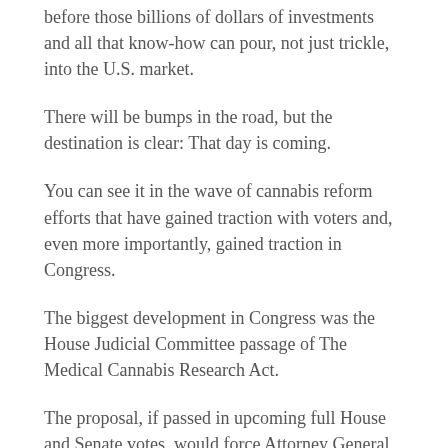before those billions of dollars of investments and all that know-how can pour, not just trickle, into the U.S. market.
There will be bumps in the road, but the destination is clear: That day is coming.
You can see it in the wave of cannabis reform efforts that have gained traction with voters and, even more importantly, gained traction in Congress.
The biggest development in Congress was the House Judicial Committee passage of The Medical Cannabis Research Act.
The proposal, if passed in upcoming full House and Senate votes, would force Attorney General Jeff Sessions to authorize two research cannabis growers within one year of passage. At least three more would be required in each subsequent year.
Currently, only the University of Mississippi – which has working agreements with Emerald Health Therapeutics Inc. (OTC: EMHTF) – has a federal license to grow research-specific